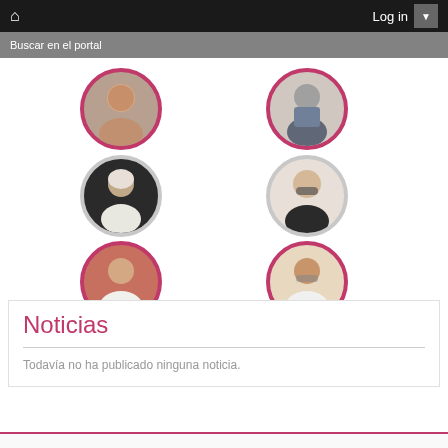Log in
Buscar en el portal
[Figure (photo): Six circular profile photos of people in a 2x3 grid layout with magenta and gray borders]
Noticias
Todavía no ha publicado ninguna noticia.